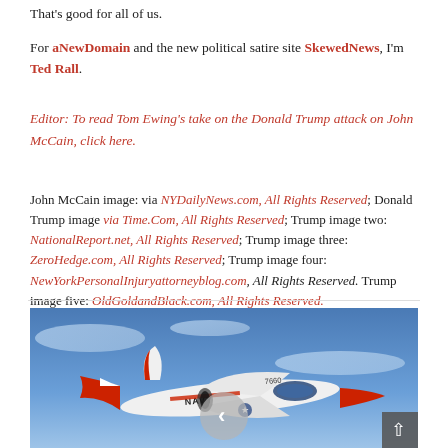That's good for all of us.
For aNewDomain and the new political satire site SkewedNews, I'm Ted Rall.
Editor: To read Tom Ewing's take on the Donald Trump attack on John McCain, click here.
John McCain image: via NYDailyNews.com, All Rights Reserved; Donald Trump image via Time.Com, All Rights Reserved; Trump image two: NationalReport.net, All Rights Reserved; Trump image three: ZeroHedge.com, All Rights Reserved; Trump image four: NewYorkPersonalInjuryattorneyblog.com, All Rights Reserved. Trump image five: OldGoldandBlack.com, All Rights Reserved.
[Figure (photo): A Navy jet aircraft (T-2 Buckeye or similar) with red and white markings and 'NAVY' text visible on the fuselage, number 7660, photographed in flight against a blue sky. A circular navigation arrow overlay is visible in the center, and a dark scroll-up button in the bottom right.]